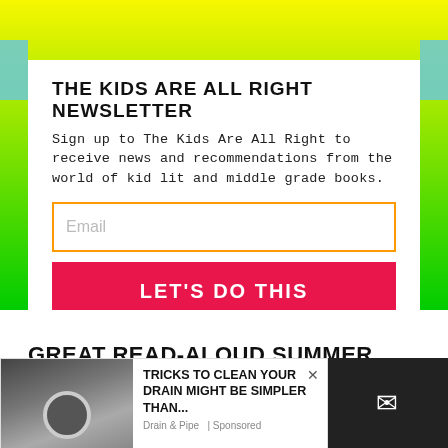THE KIDS ARE ALL RIGHT NEWSLETTER
Sign up to The Kids Are All Right to receive news and recommendations from the world of kid lit and middle grade books.
Email
LET'S DO THIS
By signing up you agree to our terms of use
GREAT READ-ALOUD SUMMER BOOKS
[Figure (screenshot): Advertisement overlay: photo of a sink drain being cleaned, with text 'TRICKS TO CLEAN YOUR DRAIN MIGHT BE SIMPLER THAN...' and source 'Drain & Pipe | Sponsored']
[Figure (other): Dark panel with white envelope/email icon]